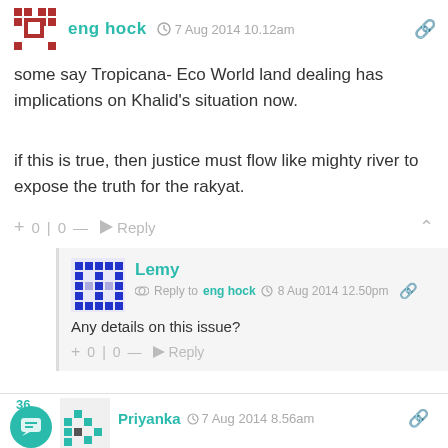eng hock · 7 Aug 2014 10.12am
some say Tropicana- Eco World land dealing has implications on Khalid's situation now.
if this is true, then justice must flow like mighty river to expose the truth for the rakyat.
+ 0 | 0 — → Reply
Lemy · Reply to eng hock · 8 Aug 2014 12.50pm
Any details on this issue?
+ 0 | 0 — → Reply
Priyanka · 7 Aug 2014 8.56am